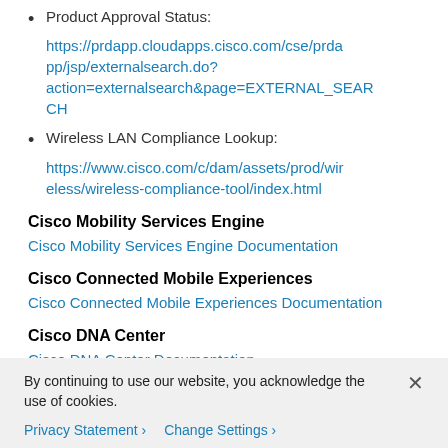Product Approval Status: https://prdapp.cloudapps.cisco.com/cse/prdapp/jsp/externalsearch.do?action=externalsearch&page=EXTERNAL_SEARCH
Wireless LAN Compliance Lookup: https://www.cisco.com/c/dam/assets/prod/wireless/wireless-compliance-tool/index.html
Cisco Mobility Services Engine
Cisco Mobility Services Engine Documentation
Cisco Connected Mobile Experiences
Cisco Connected Mobile Experiences Documentation
Cisco DNA Center
Cisco DNA Center Documentation
By continuing to use our website, you acknowledge the use of cookies.
Privacy Statement > Change Settings >